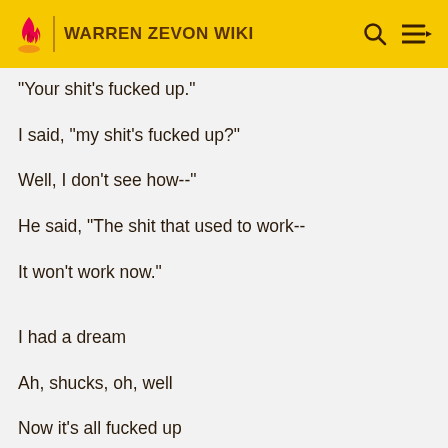WARREN ZEVON WIKI
"Your shit's fucked up."
I said, "my shit's fucked up?"
Well, I don't see how--"
He said, "The shit that used to work--
It won't work now."
I had a dream
Ah, shucks, oh, well
Now it's all fucked up